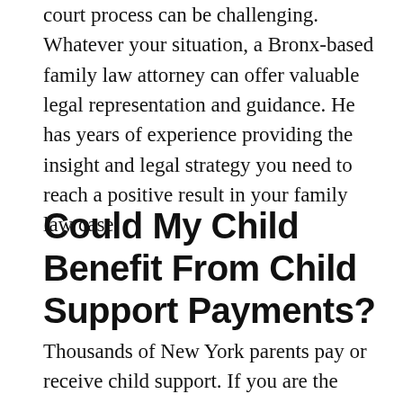court process can be challenging. Whatever your situation, a Bronx-based family law attorney can offer valuable legal representation and guidance. He has years of experience providing the insight and legal strategy you need to reach a positive result in your family law case.
Could My Child Benefit From Child Support Payments?
Thousands of New York parents pay or receive child support. If you are the parent with legal custody, you have a right to file for child support